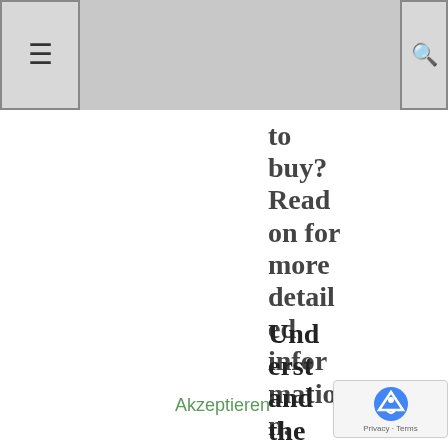≡  [search icon]
to buy? Read on for more detailed information.
Understand the
Akzeptieren